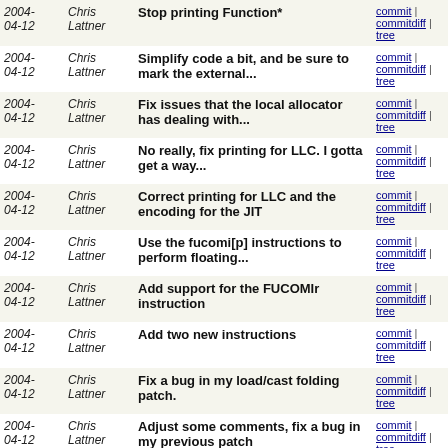| Date | Author | Message | Links |
| --- | --- | --- | --- |
| 2004-04-12 | Chris Lattner | Stop printing Function* | commit | commitdiff | tree |
| 2004-04-12 | Chris Lattner | Simplify code a bit, and be sure to mark the external... | commit | commitdiff | tree |
| 2004-04-12 | Chris Lattner | Fix issues that the local allocator has dealing with... | commit | commitdiff | tree |
| 2004-04-12 | Chris Lattner | No really, fix printing for LLC. I gotta get a way... | commit | commitdiff | tree |
| 2004-04-12 | Chris Lattner | Correct printing for LLC and the encoding for the JIT | commit | commitdiff | tree |
| 2004-04-12 | Chris Lattner | Use the fucomi[p] instructions to perform floating... | commit | commitdiff | tree |
| 2004-04-12 | Chris Lattner | Add support for the FUCOMIr instruction | commit | commitdiff | tree |
| 2004-04-12 | Chris Lattner | Add two new instructions | commit | commitdiff | tree |
| 2004-04-12 | Chris Lattner | Fix a bug in my load/cast folding patch. | commit | commitdiff | tree |
| 2004-04-12 | Chris Lattner | Adjust some comments, fix a bug in my previous patch | commit | commitdiff | tree |
| 2004-04-11 | Chris Lattner | Disambiguate symbols after loop extraction so that... | commit | commitdiff | tree |
| 2004-04-11 | Chris Lattner | On X86, casting an integer to floating point requires... | commit | commitdiff | tree |
| 2004-04-11 | Chris Lattner | New testcase | commit | commitdiff | tree |